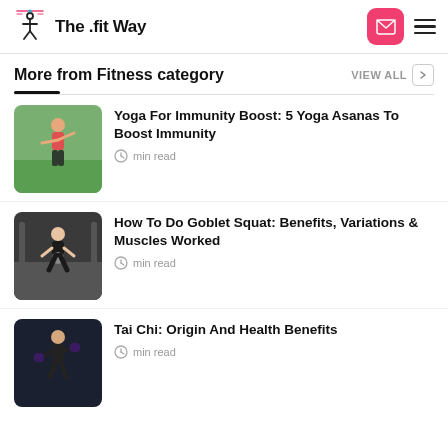The .fit Way
More from Fitness category
[Figure (photo): Woman in red sports bra doing yoga pose outdoors]
Yoga For Immunity Boost: 5 Yoga Asanas To Boost Immunity
min read
[Figure (photo): Person doing goblet squat with kettlebell in gym]
How To Do Goblet Squat: Benefits, Variations & Muscles Worked
min read
[Figure (photo): Man in martial arts stance, Tai Chi pose]
Tai Chi: Origin And Health Benefits
min read